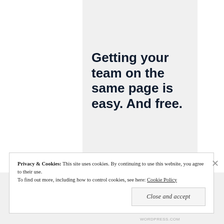[Figure (logo): P2 logo consisting of a dark square icon and bold 'P2' text]
Getting your team on the same page is easy. And free.
Privacy & Cookies: This site uses cookies. By continuing to use this website, you agree to their use. To find out more, including how to control cookies, see here: Cookie Policy
Close and accept
WORDPRESS.COM